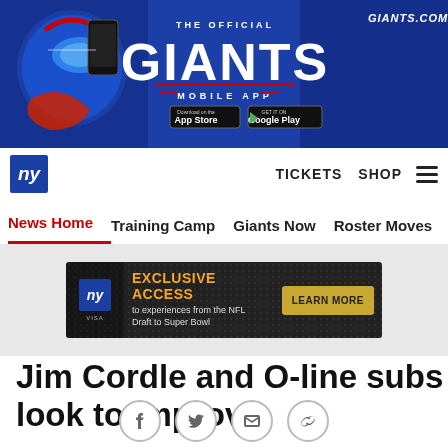[Figure (illustration): New York Giants official mobile app advertisement banner with player in blue helmet, GIANTS logo, App Store and Google Play buttons, GIANTS.COM text]
ny | TICKETS  SHOP
News Home  Training Camp  Giants Now  Roster Moves  Fact o
[Figure (advertisement): NY Giants exclusive access ad: EXCLUSIVE ACCESS to experiences from the NFL Draft to Super Bowl. LEARN MORE button.]
Jim Cordle and O-line subs look to improve